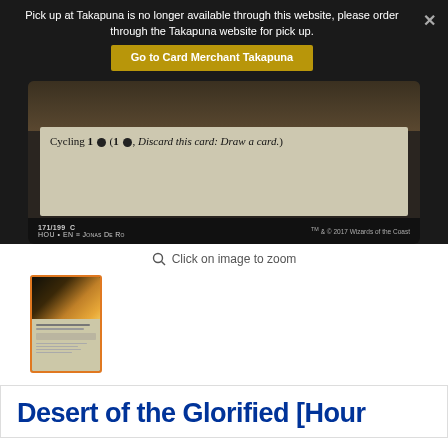Pick up at Takapuna is no longer available through this website, please order through the Takapuna website for pick up.
Go to Card Merchant Takapuna
[Figure (photo): Magic: The Gathering card bottom portion showing cycling text: Cycling 1 skull (1 skull, Discard this card: Draw a card.) with card number 171/199 C, HOU EN, Jonas De Ro, TM & C 2017 Wizards of the Coast]
Click on image to zoom
[Figure (photo): Thumbnail of Magic: The Gathering card Desert of the Glorified with orange border highlight]
Desert of the Glorified [Hour